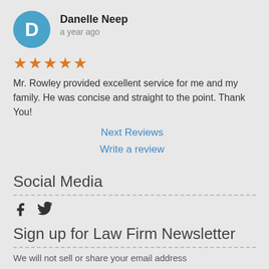Danelle Neep
a year ago
Mr. Rowley provided excellent service for me and my family. He was concise and straight to the point. Thank You!
Next Reviews
Write a review
Social Media
[Figure (illustration): Facebook and Twitter social media icons]
Sign up for Law Firm Newsletter
We will not sell or share your email address